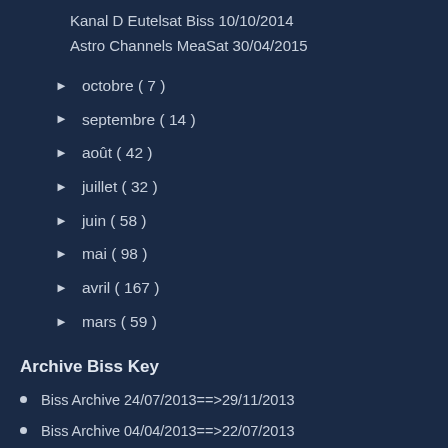Kanal D Eutelsat Biss 10/10/2014
Astro Channels MeaSat 30/04/2015
octobre ( 7 )
septembre ( 14 )
août ( 42 )
juillet ( 32 )
juin ( 58 )
mai ( 98 )
avril ( 167 )
mars ( 59 )
Archive Biss Key
Biss Archive 24/07/2013==>29/11/2013
Biss Archive 04/04/2013==>22/07/2013
Feed Biss Archive 09/05/2013 ===>01/07/2013